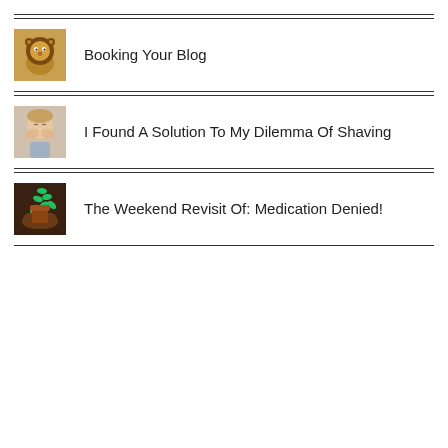Booking Your Blog
I Found A Solution To My Dilemma Of Shaving
The Weekend Revisit Of: Medication Denied!